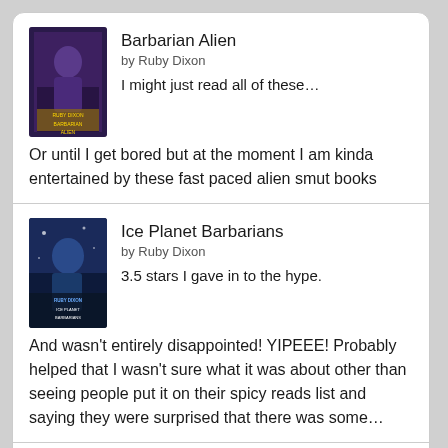Barbarian Alien by Ruby Dixon — I might just read all of these… Or until I get bored but at the moment I am kinda entertained by these fast paced alien smut books
Ice Planet Barbarians by Ruby Dixon — 3.5 stars I gave in to the hype. And wasn't entirely disappointed! YIPEEE! Probably helped that I wasn't sure what it was about other than seeing people put it on their spicy reads list and saying they were surprised that there was some…
The Bridge Kingdom by Danielle L. Jensen — 3. 5 Stars I really enjoyed the first 3/4 of this